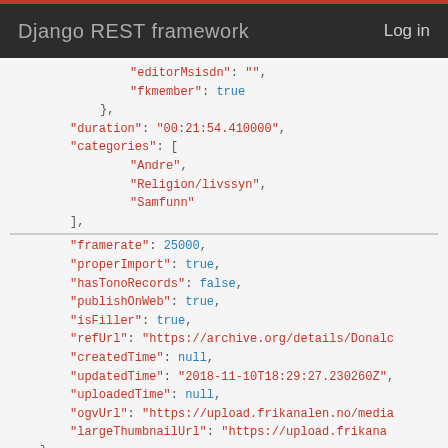Django REST framework   Log in
"editorMsisdn": "",
"fkmember": true
},
"duration": "00:21:54.410000",
"categories": [
    "Andre",
    "Religion/livssyn",
    "Samfunn"
],
"framerate": 25000,
"properImport": true,
"hasTonoRecords": false,
"publishOnWeb": true,
"isFiller": true,
"refUrl": "https://archive.org/details/Donald...",
"createdTime": null,
"updatedTime": "2018-11-10T18:29:27.230260Z",
"uploadedTime": null,
"ogvUrl": "https://upload.frikanalen.no/media...",
"largeThumbnailUrl": "https://upload.frikana..."
},
{
    "id": 625423